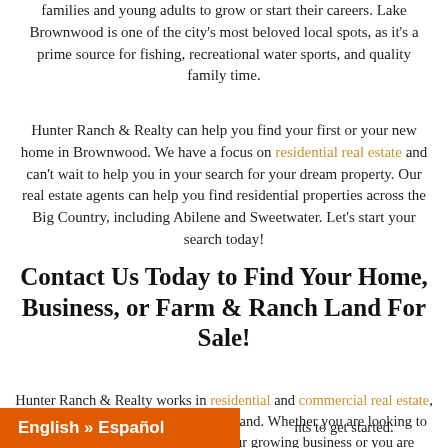families and young adults to grow or start their careers. Lake Brownwood is one of the city's most beloved local spots, as it's a prime source for fishing, recreational water sports, and quality family time.
Hunter Ranch & Realty can help you find your first or your new home in Brownwood. We have a focus on residential real estate and can't wait to help you in your search for your dream property. Our real estate agents can help you find residential properties across the Big Country, including Abilene and Sweetwater. Let's start your search today!
Contact Us Today to Find Your Home, Business, or Farm & Ranch Land For Sale!
Hunter Ranch & Realty works in residential and commercial real estate, as well as the sale of farm and ranch land. Whether you are looking to lease or purchase a property for your growing business or you are looking to start up your own business and require your own space, we can help. You don't have to navigate this complicated process on your own. Just call one of our agents to get started.
English » Español